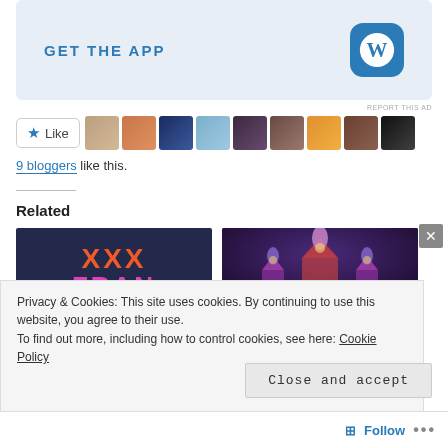[Figure (screenshot): WordPress 'GET THE APP' advertisement banner with blue WordPress logo icon on light blue background]
REPORT THIS AD
[Figure (screenshot): Like button with star icon followed by a row of 9 blogger avatar thumbnails]
9 bloggers like this.
Related
[Figure (screenshot): Two related article thumbnail images: left shows 'XXX FRAN' text on dark background, right shows illuminated Russian cathedral at night]
Privacy & Cookies: This site uses cookies. By continuing to use this website, you agree to their use.
To find out more, including how to control cookies, see here: Cookie Policy
Close and accept
Follow